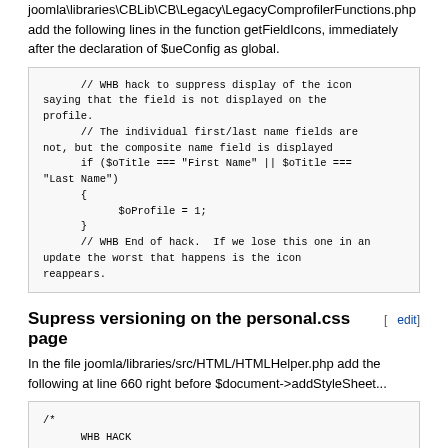joomla\libraries\CBLib\CB\Legacy\LegacyComprofilerFunctions.php add the following lines in the function getFieldIcons, immediately after the declaration of $ueConfig as global.
// WHB hack to suppress display of the icon saying that the field is not displayed on the profile.
// The individual first/last name fields are not, but the composite name field is displayed
if ($oTitle === "First Name" || $oTitle === "Last Name")
{
    $oProfile = 1;
}
// WHB End of hack.  If we lose this one in an update the worst that happens is the icon reappears.
Supress versioning on the personal.css page
In the file joomla/libraries/src/HTML/HTMLHelper.php add the following at line 660 right before $document->addStyleSheet...
/*
    WHB HACK
*/